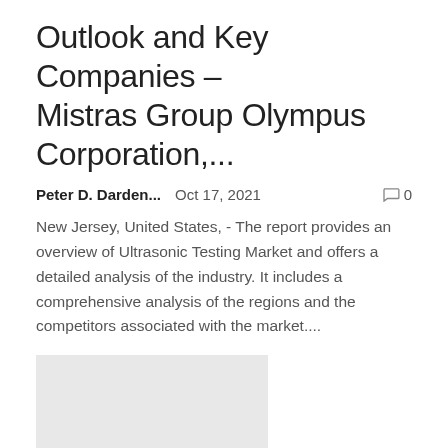Outlook and Key Companies – Mistras Group Olympus Corporation,...
Peter D. Darden...   Oct 17, 2021   💬 0
New Jersey, United States, - The report provides an overview of Ultrasonic Testing Market and offers a detailed analysis of the industry. It includes a comprehensive analysis of the regions and the competitors associated with the market....
[Figure (other): Gray placeholder image rectangle]
Healthcare Linen Industry